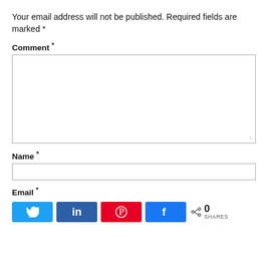Your email address will not be published. Required fields are marked *
Comment *
[Figure (screenshot): Comment text area input field]
Name *
[Figure (screenshot): Name text input field]
Email *
[Figure (infographic): Social share buttons: Twitter, LinkedIn, Pinterest, Facebook with share count showing 0 SHARES]